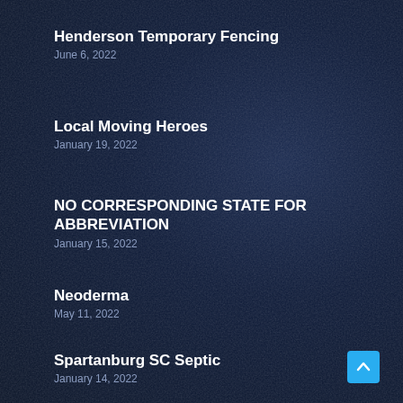Henderson Temporary Fencing
June 6, 2022
Local Moving Heroes
January 19, 2022
NO CORRESPONDING STATE FOR ABBREVIATION
January 15, 2022
Neoderma
May 11, 2022
Spartanburg SC Septic
January 14, 2022